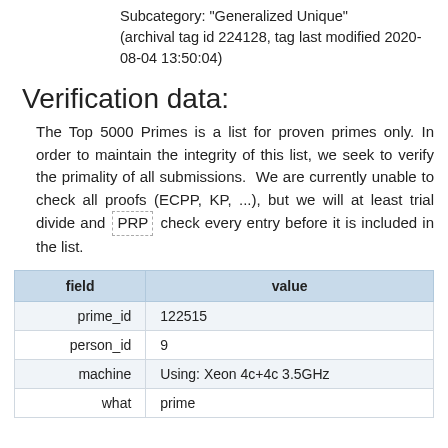Subcategory: "Generalized Unique" (archival tag id 224128, tag last modified 2020-08-04 13:50:04)
Verification data:
The Top 5000 Primes is a list for proven primes only. In order to maintain the integrity of this list, we seek to verify the primality of all submissions.  We are currently unable to check all proofs (ECPP, KP, ...), but we will at least trial divide and PRP check every entry before it is included in the list.
| field | value |
| --- | --- |
| prime_id | 122515 |
| person_id | 9 |
| machine | Using: Xeon 4c+4c 3.5GHz |
| what | prime |